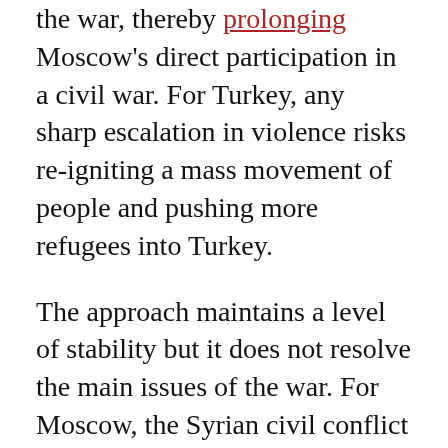the war, thereby prolonging Moscow's direct participation in a civil war. For Turkey, any sharp escalation in violence risks re-igniting a mass movement of people and pushing more refugees into Turkey.
The approach maintains a level of stability but it does not resolve the main issues of the war. For Moscow, the Syrian civil conflict is a geopolitical power play aimed at preventing yet another Western-sponsored regime change in the Middle East. But for Assad the war is about whether the insurgency will be able to topple and kill him and his family.